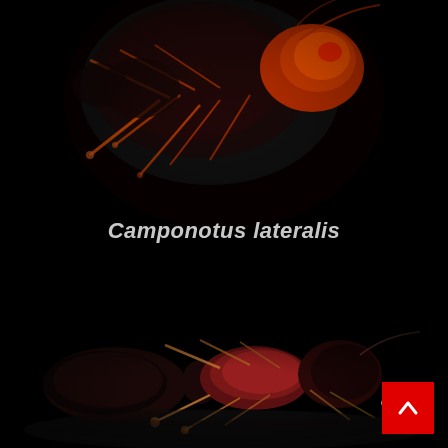[Figure (photo): Close-up macro photograph of a Camponotus lateralis ant against a black background, showing top-down view with red-orange head and black body with orange legs, highly detailed.]
Camponotus lateralis
[Figure (photo): Macro photograph of a Camponotus lateralis ant in lateral view against a black reflective surface, showing dark red and black coloration with eggs/larvae visible near the front of the ant.]